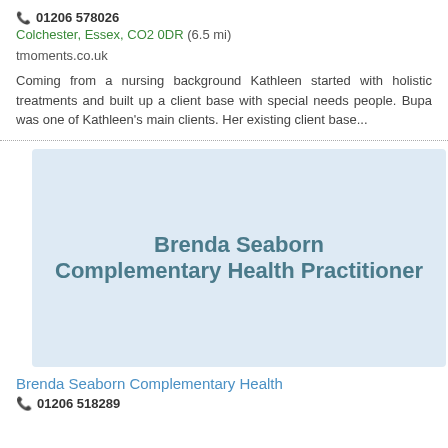📞 01206 578026
Colchester, Essex, CO2 0DR (6.5 mi)
tmoments.co.uk
Coming from a nursing background Kathleen started with holistic treatments and built up a client base with special needs people. Bupa was one of Kathleen's main clients. Her existing client base...
[Figure (illustration): Light blue banner image with bold teal text reading 'Brenda Seaborn Complementary Health Practitioner']
Brenda Seaborn Complementary Health
📞 01206 518289